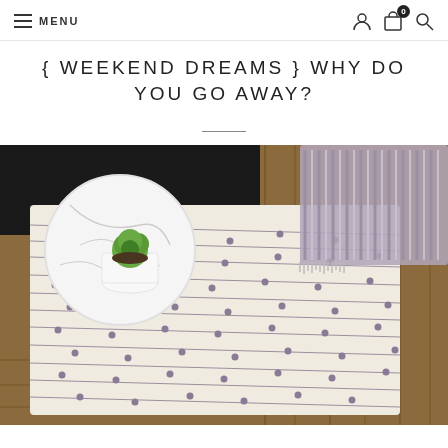MENU
{ WEEKEND DREAMS } WHY DO YOU GO AWAY?
[Figure (photo): Overhead flat-lay photo showing a folded cream and grey dotted/striped woven blanket on wooden planks, with a marble tray holding a small plant in a white ceramic pot, and a grey fringed textile in the upper right corner.]